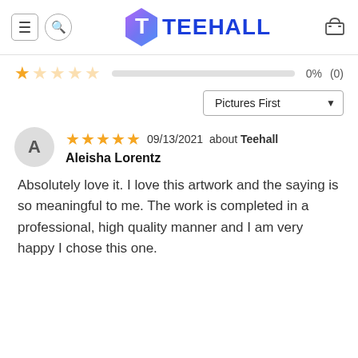TEEHALL
1 star 0% (0)
Pictures First
09/13/2021 about Teehall
Aleisha Lorentz
Absolutely love it. I love this artwork and the saying is so meaningful to me. The work is completed in a professional, high quality manner and I am very happy I chose this one.